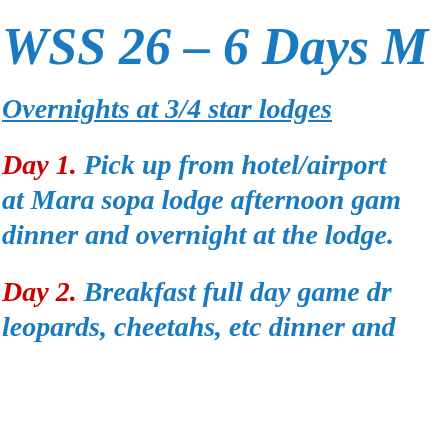WSS 26 - 6 Days M
Overnights at 3/4 star lodges
Day 1. Pick up from hotel/airport at Mara sopa lodge afternoon game drive dinner and overnight at the lodge.
Day 2. Breakfast full day game drive leopards, cheetahs, etc dinner and